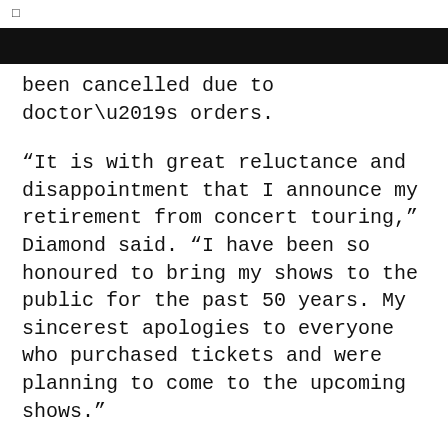been cancelled due to doctor’s orders.
“It is with great reluctance and disappointment that I announce my retirement from concert touring,” Diamond said. “I have been so honoured to bring my shows to the public for the past 50 years. My sincerest apologies to everyone who purchased tickets and were planning to come to the upcoming shows.”
However, Diamond did say he will continue to write and record music.